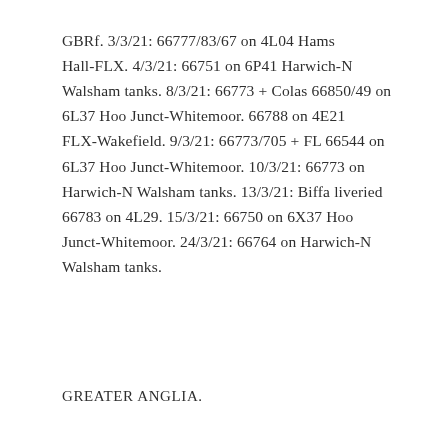GBRf. 3/3/21: 66777/83/67 on 4L04 Hams Hall-FLX. 4/3/21: 66751 on 6P41 Harwich-N Walsham tanks. 8/3/21: 66773 + Colas 66850/49 on 6L37 Hoo Junct-Whitemoor. 66788 on 4E21 FLX-Wakefield. 9/3/21: 66773/705 + FL 66544 on 6L37 Hoo Junct-Whitemoor. 10/3/21: 66773 on Harwich-N Walsham tanks. 13/3/21: Biffa liveried 66783 on 4L29. 15/3/21: 66750 on 6X37 Hoo Junct-Whitemoor. 24/3/21: 66764 on Harwich-N Walsham tanks.
GREATER ANGLIA.